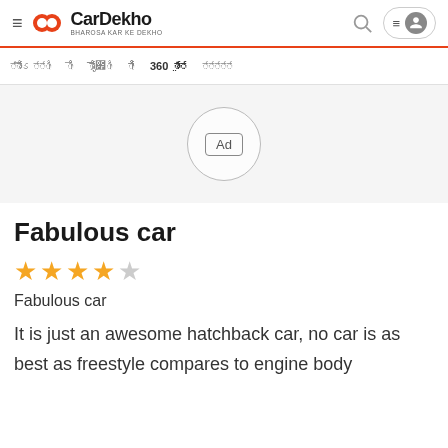CarDekho — BHAROSA KAR KE DEKHO
Nav: [Hindi text] [Hindi text] [Hindi text] [Hindi text] 360 [Hindi text] [Hindi text]
[Figure (other): Advertisement placeholder area with a circle containing 'Ad' label]
Fabulous car
★★★★ (4 stars out of 5)
Fabulous car
It is just an awesome hatchback car, no car is as best as freestyle compares to engine body